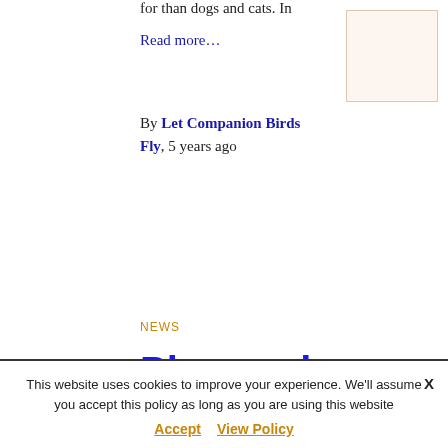for than dogs and cats. In
Read more…
[Figure (photo): Thumbnail image placeholder, light peach/cream colored box with border]
By Let Companion Birds Fly, 5 years ago
NEWS
Please sign petition! BAN Melbourne Bird Sale 29 MAY 2016!
This website uses cookies to improve your experience. We'll assume you accept this policy as long as you are using this website
Accept   View Policy